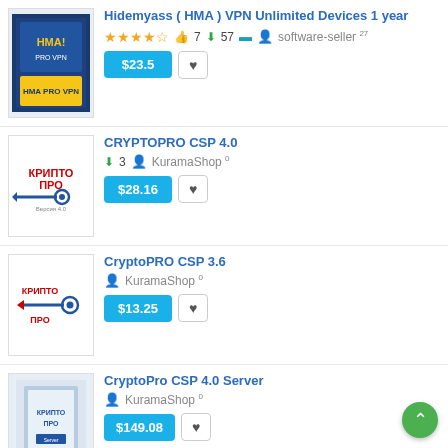[Figure (screenshot): Product listing page with software items for sale]
Hidemyass ( HMA ) VPN Unlimited Devices 1 year
★★★★★ 👍 7 ⬇ 57 💳 👤 software-seller 27 $23.5
CRYPTOPRO CSP 4.0
⬇ 3 👤 KuramaShop 0 $28.16
CryptoPRO CSP 3.6
👤 KuramaShop 0 $13.25
CryptoPro CSP 4.0 Server
👤 KuramaShop 0 $149.08
NordVPN PREMIUM • VPN 22 - 2023